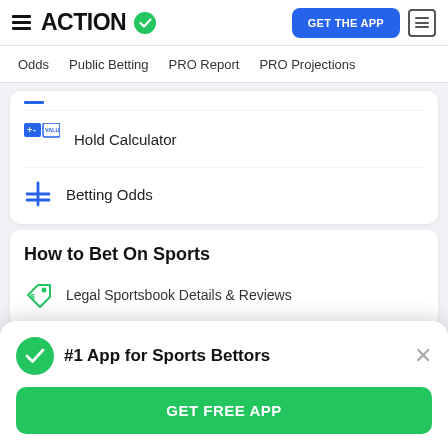ACTION — GET THE APP
Odds  Public Betting  PRO Report  PRO Projections
Hold Calculator
Betting Odds
How to Bet On Sports
Legal Sportsbook Details & Reviews
#1 App for Sports Bettors
GET FREE APP
Mistakes Sports Bettors Should Avoid